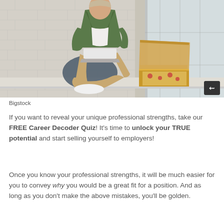[Figure (photo): Young man sitting cross-legged on a window ledge using a laptop, with an open pizza box beside him and brick wall in background. A share icon button is in the bottom right corner of the image.]
Bigstock
If you want to reveal your unique professional strengths, take our FREE Career Decoder Quiz! It's time to unlock your TRUE potential and start selling yourself to employers!
Once you know your professional strengths, it will be much easier for you to convey why you would be a great fit for a position. And as long as you don't make the above mistakes, you'll be golden.